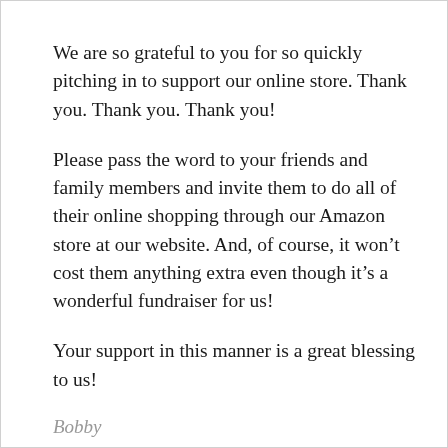We are so grateful to you for so quickly pitching in to support our online store. Thank you. Thank you. Thank you!
Please pass the word to your friends and family members and invite them to do all of their online shopping through our Amazon store at our website. And, of course, it won’t cost them anything extra even though it’s a wonderful fundraiser for us!
Your support in this manner is a great blessing to us!
Bobby